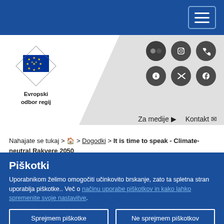Navigation bar with hamburger menu
[Figure (logo): European Committee of the Regions logo with EU flag and text 'Evropski odbor regij']
[Figure (infographic): Social media icons grid: Flickr, and 5 other social media icons (dark circular buttons)]
Za medije  Kontakt
Nahajate se tukaj > 🏠 > Dogodki > It is time to speak - Climate-neutral Rakvere 2050
Piškotki
Uporabnikom želimo omogočiti učinkovito brskanje, zato ta spletna stran uporablja piškotke.. Več o načinu uporabe piškotkov in kako lahko spremenite svoje nastavitve.
Sprejmem piškotke
Ne sprejmem piškotkov